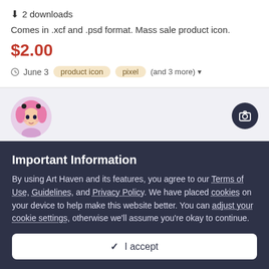2 downloads
Comes in .xcf and .psd format. Mass sale product icon.
$2.00
June 3   product icon   pixel   (and 3 more)
[Figure (illustration): Circular avatar image of a pink-haired anime-style character]
PopScream Lights
By Scream...in Cookies & Desin...
Important Information
By using Art Haven and its features, you agree to our Terms of Use, Guidelines, and Privacy Policy. We have placed cookies on your device to help make this website better. You can adjust your cookie settings, otherwise we'll assume you're okay to continue.
I accept